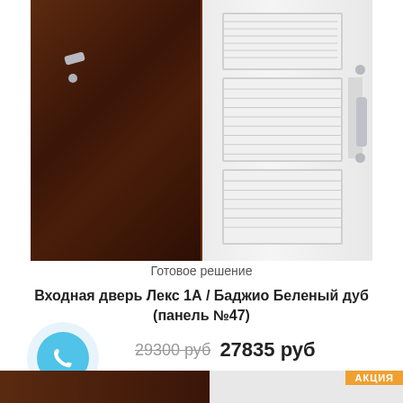[Figure (photo): Product photo of an entry door shown from two sides: left side (exterior) dark brown/mahogany metal surface with silver handle and lock; right side (interior) white panel door with decorative recessed panels, silver long handle and locks.]
Готовое решение
Входная дверь Лекс 1А / Баджио Беленый дуб (панель №47)
29300 руб  27835 руб
[Figure (photo): Bottom strip showing partial product image with АКЦИЯ (sale) badge in orange on the right side.]